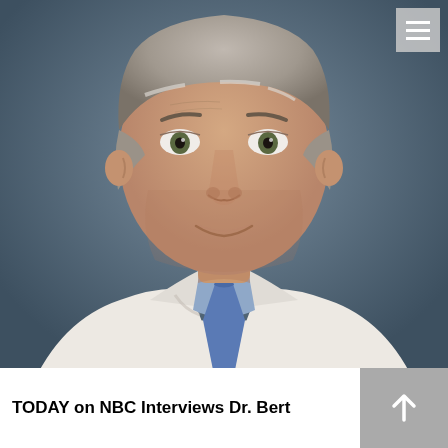[Figure (photo): Professional headshot of a male doctor wearing a white lab coat with a light blue shirt and blue tie, with grey hair, photographed against a muted blue-grey background.]
TODAY on NBC Interviews Dr. Bert